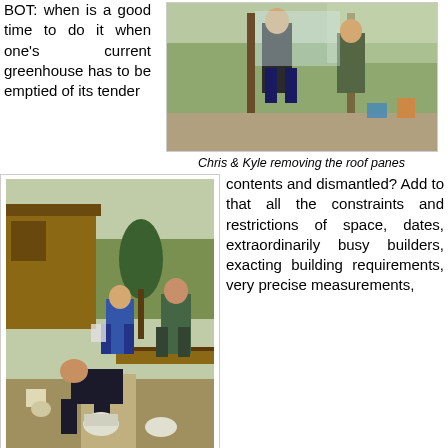BOT: when is a good time to do it when one's current greenhouse has to be emptied of its tender
[Figure (photo): Two people removing roof panes from a greenhouse structure]
Chris & Kyle removing the roof panes
[Figure (photo): People covering electrics and a lonely tree fern in a garden]
Covering Dave's electrics & a lonely tree fern!
contents and dismantled? Add to that all the constraints and restrictions of space, dates, extraordinarily busy builders, exacting building requirements, very precise measurements, deadlines, designs......I could go on and on!. There's a zillion things to think of. No gardener wants to miss a growing season - the thought of no home grown tomatoes is too sad.